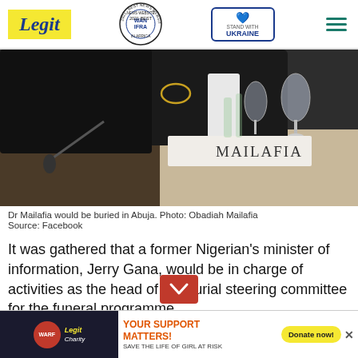Legit | WAN IFRA 2021 Best News Website in Africa | Stand with Ukraine
[Figure (photo): Photo of Dr Obadiah Mailafia seated at a conference table with a nameplate reading MAILAFIA, wine glasses visible in foreground]
Dr Mailafia would be buried in Abuja. Photo: Obadiah Mailafia
Source: Facebook
It was gathered that a former Nigerian's minister of information, Jerry Gana, would be in charge of activities as the head of the burial steering committee for the funeral programme.
[Figure (infographic): Advertisement banner: YOUR SUPPORT MATTERS! SAVE THE LIFE OF GIRL AT RISK. Legit Charity with WARF logo. Donate now button.]